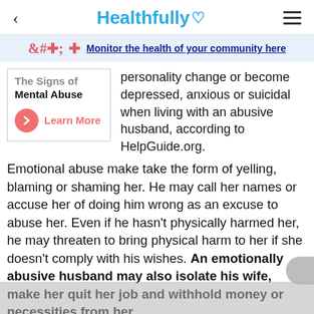Healthfully
Monitor the health of your community here
The Signs of Mental Abuse
Learn More
personality change or become depressed, anxious or suicidal when living with an abusive husband, according to HelpGuide.org. Emotional abuse make take the form of yelling, blaming or shaming her. He may call her names or accuse her of doing him wrong as an excuse to abuse her. Even if he hasn't physically harmed her, he may threaten to bring physical harm to her if she doesn't comply with his wishes. An emotionally abusive husband may also isolate his wife, make her quit her job and withhold money or necessities from her